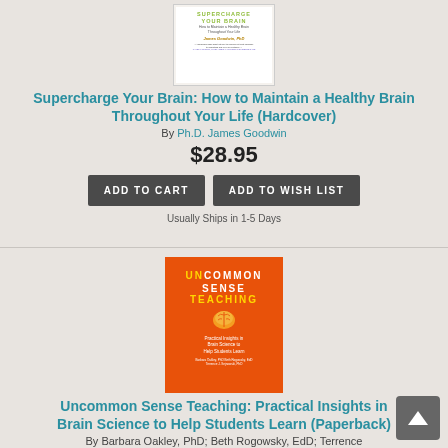[Figure (photo): Book cover of Supercharge Your Brain by James Goodwin PhD]
Supercharge Your Brain: How to Maintain a Healthy Brain Throughout Your Life (Hardcover)
By Ph.D. James Goodwin
$28.95
ADD TO CART
ADD TO WISH LIST
Usually Ships in 1-5 Days
[Figure (photo): Book cover of Uncommon Sense Teaching: Practical Insights in Brain Science to Help Students Learn]
Uncommon Sense Teaching: Practical Insights in Brain Science to Help Students Learn (Paperback)
By Barbara Oakley, PhD; Beth Rogowsky, EdD; Terrence